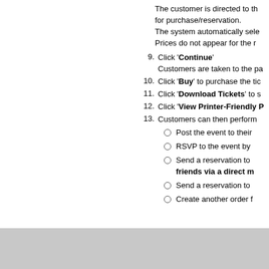The customer is directed to the for purchase/reservation. The system automatically sele Prices do not appear for the r
9. Click 'Continue' Customers are taken to the pa
10. Click 'Buy' to purchase the tic
11. Click 'Download Tickets' to s
12. Click 'View Printer-Friendly P
13. Customers can then perform
Post the event to their
RSVP to the event by
Send a reservation to friends via a direct m
Send a reservation to
Create another order f